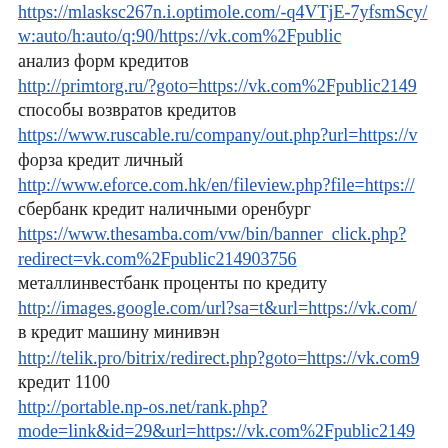https://mlasksc267n.i.optimole.com/-q4VTjE-7yfsmScy/w:auto/h:auto/q:90/https://vk.com%2Fpublic...
анализ форм кредитов
http://primtorg.ru/?goto=https://vk.com%2Fpublic2149...
способы возвратов кредитов
https://www.ruscable.ru/company/out.php?url=https://v...
форза кредит личный
http://www.eforce.com.hk/en/fileview.php?file=https://...
сбербанк кредит наличными оренбург
https://www.thesamba.com/vw/bin/banner_click.php?redirect=vk.com%2Fpublic214903756
металлинвестбанк проценты по кредиту
http://images.google.com/url?sa=t&url=https://vk.com/...
в кредит машину минивэн
http://telik.pro/bitrix/redirect.php?goto=https://vk.com9...
кредит 1100
http://portable.np-os.net/rank.php?mode=link&id=29&url=https://vk.com%2Fpublic2149...
процент в сос кредите